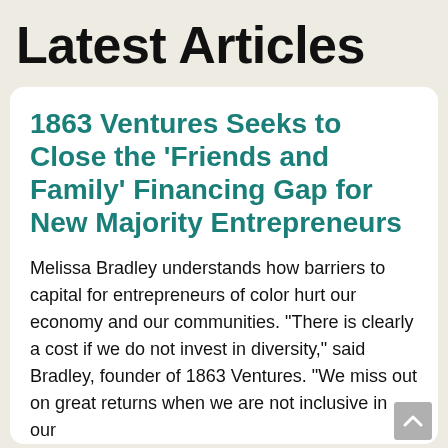Latest Articles
1863 Ventures Seeks to Close the ‘Friends and Family’ Financing Gap for New Majority Entrepreneurs
Melissa Bradley understands how barriers to capital for entrepreneurs of color hurt our economy and our communities. “There is clearly a cost if we do not invest in diversity,” said Bradley, founder of 1863 Ventures. “We miss out on great returns when we are not inclusive in our